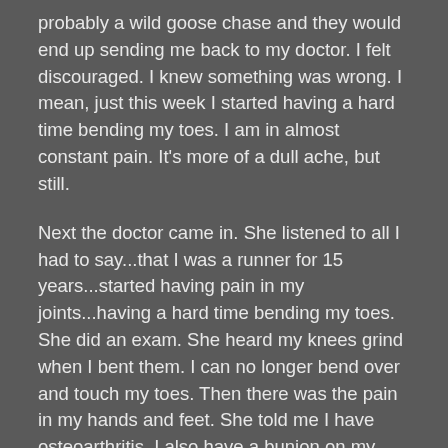probably a wild goose chase and they would end up sending me back to my doctor. I felt discouraged. I knew something was wrong. I mean, just this week I started having a hard time bending my toes. I am in almost constant pain. It's more of a dull ache, but still.
Next the doctor came in. She listened to all I had to say...that I was a runner for 15 years...started having pain in my joints...having a hard time bending my toes. She did an exam. She heard my knees grind when I bent them. I can no longer bend over and touch my toes. Then there was the pain in my hands and feet. She told me I have osteoarthritis. I also have a bunion on my right foot which is a great source of my pain.
I told her that I could no longer run. The last time I ran I